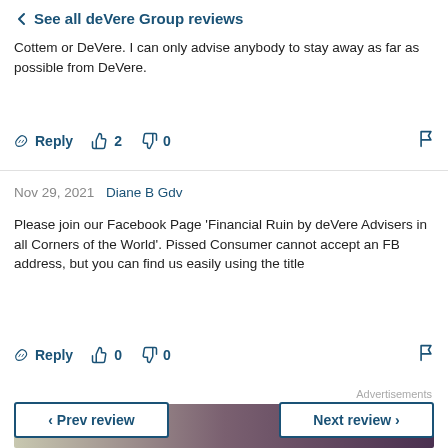← See all deVere Group reviews
Cottem or DeVere. I can only advise anybody to stay away as far as possible from DeVere.
Reply  👍 2  👎 0  🚩
Nov 29, 2021  Diane B Gdv
Please join our Facebook Page 'Financial Ruin by deVere Advisers in all Corners of the World'. Pissed Consumer cannot accept an FB address, but you can find us easily using the title
Reply  👍 0  👎 0  🚩
Advertisements
[Figure (photo): Advertisement banner with gradient from beige/tan to dark purple]
‹ Prev review    Next review ›